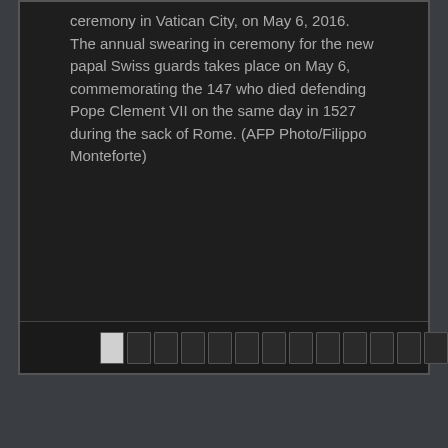ceremony in Vatican City, on May 6, 2016. The annual swearing in ceremony for the new papal Swiss guards takes place on May 6, commemorating the 147 who died defending Pope Clement VII on the same day in 1527 during the sack of Rome. (AFP Photo/Filippo Monteforte)
[Figure (photo): Dark photo viewer interface showing a filmstrip navigation bar at the bottom with multiple dark film frames, the first one highlighted in light grey/white as the active frame.]